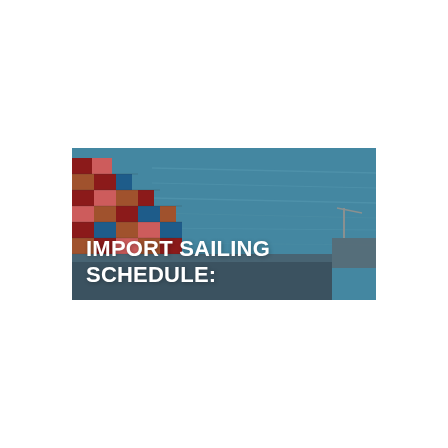[Figure (photo): A container ship loaded with stacked colorful shipping containers on the left side, with blue ocean water in the background and a port/vessel visible in the far right. White bold text overlay reads 'IMPORT SAILING SCHEDULE:' across the lower-left portion of the image.]